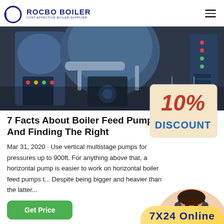[Figure (logo): Rocbo Boiler logo with circular icon and text 'ROCBO BOILER - COST-EFFECTIVE BOILER SUPPLIER']
[Figure (photo): Industrial boiler room with large blue cylindrical boilers and control panels]
7 Facts About Boiler Feed Pumps And Finding The Right
Mar 31, 2020 · Use vertical multistage pumps for pressures up to 900ft. For anything above that, a horizontal pump is easier to work on horizontal boiler feed pumps t... Despite being bigger and heavier than the latter...
[Figure (infographic): 10% Discount badge with cream/beige background and red 10% text]
[Figure (photo): Customer service representative with headset smiling]
Get Price
7X24 Online